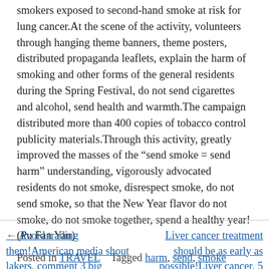smokers exposed to second-hand smoke at risk for lung cancer.At the scene of the activity, volunteers through hanging theme banners, theme posters, distributed propaganda leaflets, explain the harm of smoking and other forms of the general residents during the Spring Festival, do not send cigarettes and alcohol, send health and warmth.The campaign distributed more than 400 copies of tobacco control publicity materials.Through this activity, greatly improved the masses of the “send smoke = send harm” understanding, vigorously advocated residents do not smoke, disrespect smoke, do not send smoke, so that the New Year flavor do not smoke, do not smoke together, spend a healthy year!(Pu Fan Yan)
Posted in TRAVEL   Tagged harm, send, smoke
← Avoid trading them!American media shout lakers, comment 3 big
Liver cancer treatment should be as early as possible!Liver cancer, 5 signs